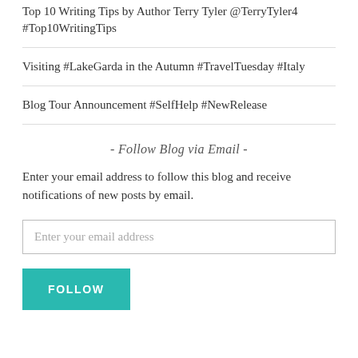Top 10 Writing Tips by Author Terry Tyler @TerryTyler4 #Top10WritingTips
Visiting #LakeGarda in the Autumn #TravelTuesday #Italy
Blog Tour Announcement #SelfHelp #NewRelease
- Follow Blog via Email -
Enter your email address to follow this blog and receive notifications of new posts by email.
Enter your email address
FOLLOW